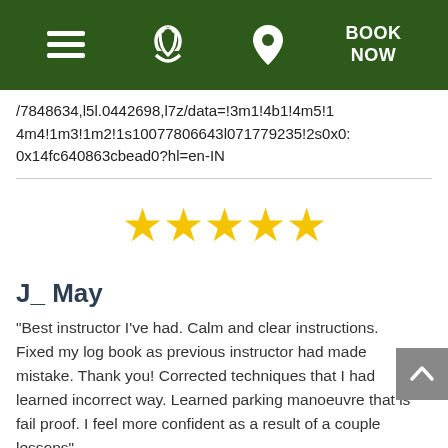Navigation bar with hamburger menu, phone icon, location pin icon, and BOOK NOW button
/7848634,l5l.0442698,l7z/data=!3m1!4b1!4m5!14m4!1m3!1m2!1s10077806643l071779235!2s0x0:0x14fc640863cbead0?hl=en-IN
[Figure (other): Five yellow star rating icons]
J_ May
"Best instructor I've had. Calm and clear instructions. Fixed my log book as previous instructor had made mistake. Thank you! Corrected techniques that I had learned incorrect way. Learned parking manoeuvre that is fail proof. I feel more confident as a result of a couple lessons"